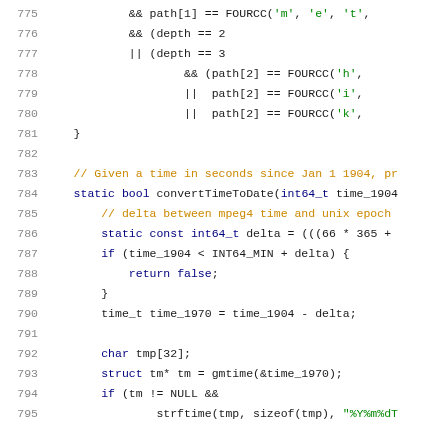[Figure (screenshot): Source code listing lines 775-795 showing C++ code for convertTimeToDate function with syntax highlighting. Line numbers in gray, keywords in dark blue, comments in orange/brown, string literals in green, identifiers in black.]